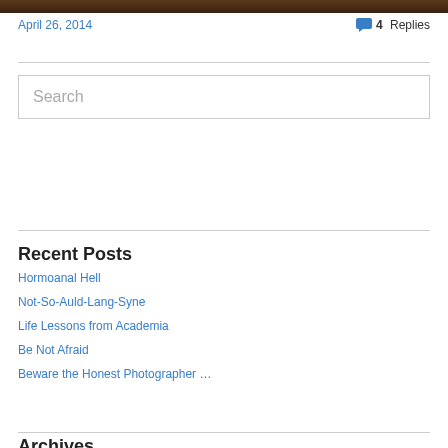[Figure (photo): Dark brown wood-textured header image strip at the top of the page]
April 26, 2014
4 Replies
Search
Recent Posts
Hormoanal Hell
Not-So-Auld-Lang-Syne
Life Lessons from Academia
Be Not Afraid
Beware the Honest Photographer …
Archives